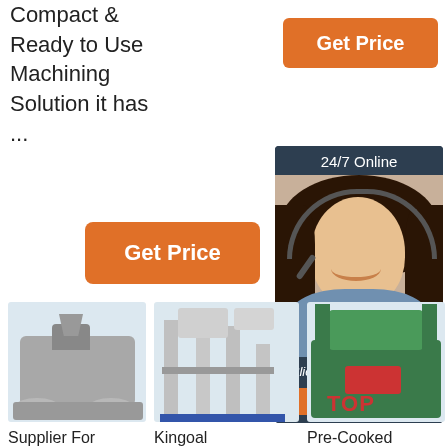Compact & Ready to Use Machining Solution it has ...
[Figure (other): Orange 'Get Price' button (top right)]
[Figure (other): 24/7 Online chat panel with woman in headset, 'Click here for free chat!' text and QUOTATION button]
[Figure (other): Orange 'Get Price' button (left column)]
[Figure (photo): Oil press machine product photo]
Supplier For Various
[Figure (photo): Kingoal milling plant product photo]
Kingoal Milling
[Figure (photo): Pre-Cooked Corn Flour machine product photo with TOP logo]
Pre-Cooked Corn Flour